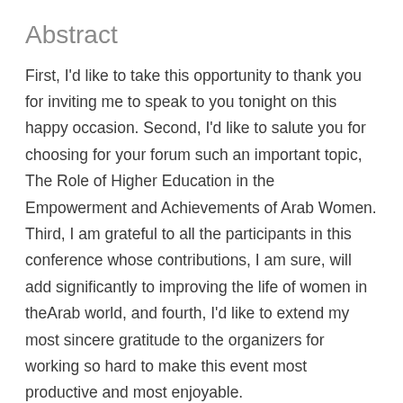Abstract
First, I'd like to take this opportunity to thank you for inviting me to speak to you tonight on this happy occasion. Second, I'd like to salute you for choosing for your forum such an important topic, The Role of Higher Education in the Empowerment and Achievements of Arab Women. Third, I am grateful to all the participants in this conference whose contributions, I am sure, will add significantly to improving the life of women in theArab world, and fourth, I'd like to extend my most sincere gratitude to the organizers for working so hard to make this event most productive and most enjoyable.